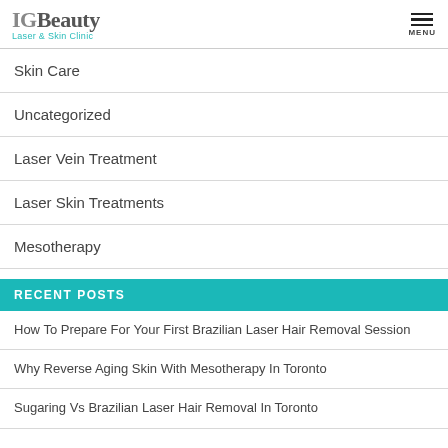IGBeauty Laser & Skin Clinic — MENU
Skin Care
Uncategorized
Laser Vein Treatment
Laser Skin Treatments
Mesotherapy
RECENT POSTS
How To Prepare For Your First Brazilian Laser Hair Removal Session
Why Reverse Aging Skin With Mesotherapy In Toronto
Sugaring Vs Brazilian Laser Hair Removal In Toronto